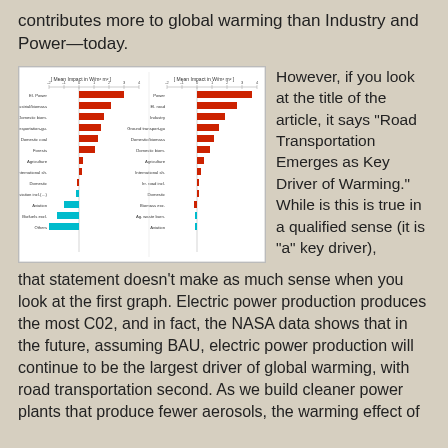contributes more to global warming than Industry and Power—today.
[Figure (bar-chart): Two horizontal bar charts showing climate forcing contributions by sector, with red bars (positive forcing) and cyan bars (negative forcing). Left chart shows present-day values, right chart shows future BAU projections.]
However, if you look at the title of the article, it says "Road Transportation Emerges as Key Driver of Warming." While is this is true in a qualified sense (it is "a" key driver), that statement doesn't make as much sense when you look at the first graph. Electric power production produces the most C02, and in fact, the NASA data shows that in the future, assuming BAU, electric power production will continue to be the largest driver of global warming, with road transportation second. As we build cleaner power plants that produce fewer aerosols, the warming effect of